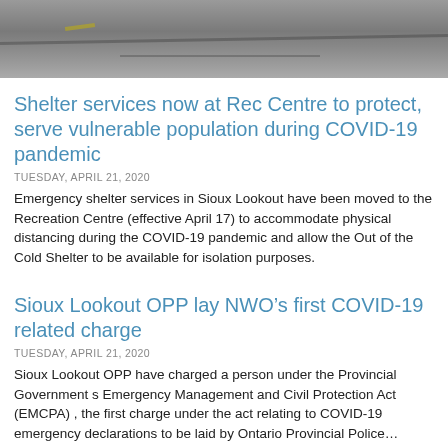[Figure (photo): Aerial or ground-level photograph of a paved surface, likely a road or parking lot, in grey tones.]
Shelter services now at Rec Centre to protect, serve vulnerable population during COVID-19 pandemic
TUESDAY, APRIL 21, 2020
Emergency shelter services in Sioux Lookout have been moved to the Recreation Centre (effective April 17) to accommodate physical distancing during the COVID-19 pandemic and allow the Out of the Cold Shelter to be available for isolation purposes.
Sioux Lookout OPP lay NWO’s first COVID-19 related charge
TUESDAY, APRIL 21, 2020
Sioux Lookout OPP have charged a person under the Provincial Government s Emergency Management and Civil Protection Act (EMCPA) , the first charge under the act relating to COVID-19 emergency declarations to be laid by Ontario Provincial Police…